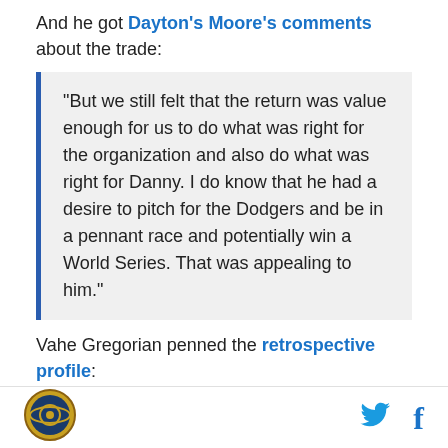And he got Dayton's Moore's comments about the trade:
“But we still felt that the return was value enough for us to do what was right for the organization and also do what was right for Danny. I do know that he had a desire to pitch for the Dodgers and be in a pennant race and potentially win a World Series. That was appealing to him.”
Vahe Gregorian penned the retrospective profile:
It’s because he was the most real Royal there was, a three-dimensional, soulful, pensive and vulnerable person considered the ultimate teammate by former
[logo] [twitter icon] [facebook icon]